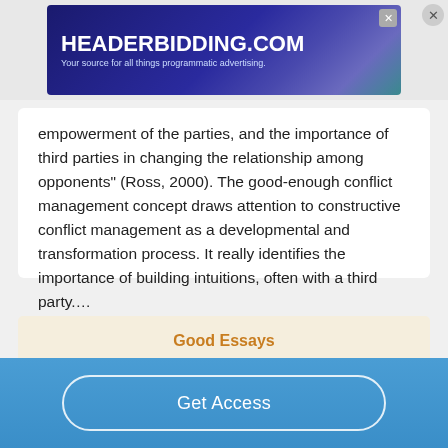[Figure (screenshot): HeaderBidding.com advertisement banner with dark blue/teal gradient background and tagline 'Your source for all things programmatic advertising.']
empowerment of the parties, and the importance of third parties in changing the relationship among opponents" (Ross, 2000). The good-enough conflict management concept draws attention to constructive conflict management as a developmental and transformation process. It really identifies the importance of building intuitions, often with a third party....
Read More
Good Essays
Get Access